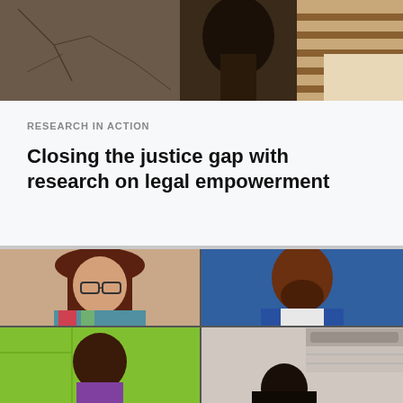[Figure (photo): Top cropped photo showing people from above, cracked ground visible, one person with braided hair, another with striped clothing]
RESEARCH IN ACTION
Closing the justice gap with research on legal empowerment
[Figure (photo): Four-panel video call screenshot showing four participants: top-left woman with glasses and long dark hair wearing colorful blouse; top-right man in blue blazer against blue background with beard; bottom-left young man against bright green/yellow wall; bottom-right man in dimly lit room]